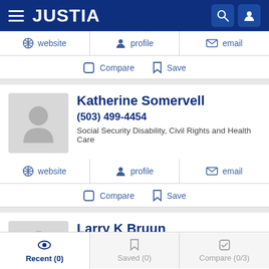JUSTIA
website  profile  email
Compare  Save
Katherine Somervell
(503) 499-4454
Social Security Disability, Civil Rights and Health Care
website  profile  email
Compare  Save
Larry K Bruun
(503) 221-0870
Recent (0)  Saved (0)  Compare (0/3)